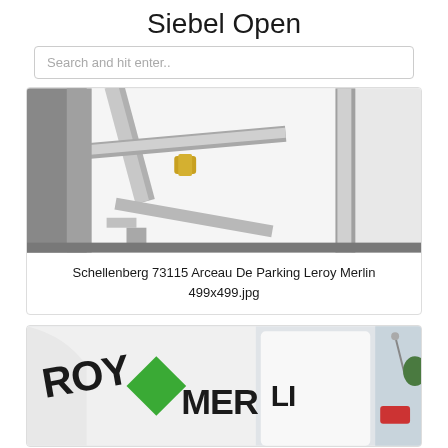Siebel Open
Search and hit enter..
[Figure (photo): Close-up photo of metal scaffold or rack components with clamps and joints, showing chrome/silver metal poles and connectors on a white background.]
Schellenberg 73115 Arceau De Parking Leroy Merlin 499x499.jpg
[Figure (photo): Photo of a Leroy Merlin delivery truck or vehicle showing the green diamond logo and 'LEROY MERLIN' text on a white background, with street scene visible behind.]